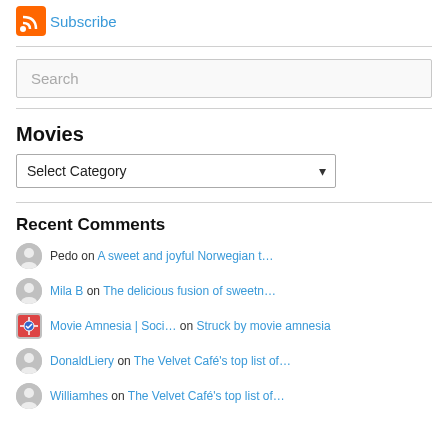Subscribe
Search
Movies
Select Category
Recent Comments
Pedo on A sweet and joyful Norwegian t…
Mila B on The delicious fusion of sweetn…
Movie Amnesia | Soci… on Struck by movie amnesia
DonaldLiery on The Velvet Café's top list of…
Williamhes on The Velvet Café's top list of…